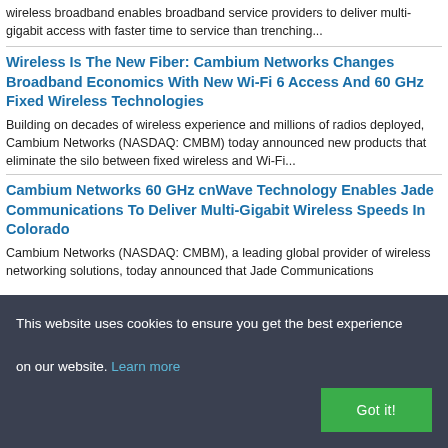wireless broadband enables broadband service providers to deliver multi-gigabit access with faster time to service than trenching...
Wireless Is The New Fiber: Cambium Networks Changes Broadband Economics With New Wi-Fi 6 Access And 60 GHz Fixed Wireless Technologies
Building on decades of wireless experience and millions of radios deployed, Cambium Networks (NASDAQ: CMBM) today announced new products that eliminate the silo between fixed wireless and Wi-Fi...
Cambium Networks 60 GHz cnWave Technology Enables Jade Communications To Deliver Multi-Gigabit Wireless Speeds In Colorado
Cambium Networks (NASDAQ: CMBM), a leading global provider of wireless networking solutions, today announced that Jade Communications
This website uses cookies to ensure you get the best experience on our website. Learn more